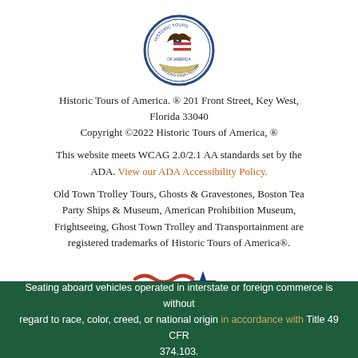[Figure (logo): Historic Tours of America circular seal logo with eagle and American flag motif, text 'Nation's Storytellers']
Historic Tours of America. ® 201 Front Street, Key West, Florida 33040
Copyright ©2022 Historic Tours of America, ®
This website meets WCAG 2.0/2.1 AA standards set by the ADA. View our ADA Accessibility Policy.
Old Town Trolley Tours, Ghosts & Gravestones, Boston Tea Party Ships & Museum, American Prohibition Museum, Frightseeing, Ghost Town Trolley and Transportainment are registered trademarks of Historic Tours of America®.
[Figure (logo): Trusted Tours & Attractions logo with red waves and blue star]
Seating aboard vehicles operated in interstate or foreign commerce is without regard to race, color, creed, or national origin in accordance with Title 49 CFR 374.103.